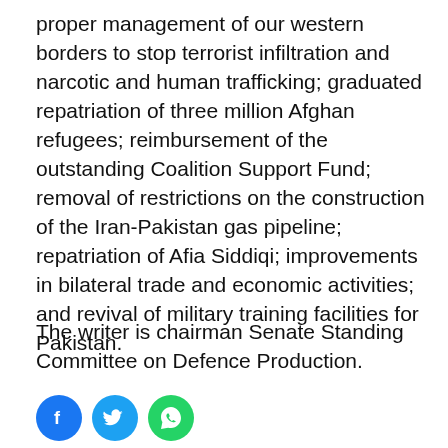proper management of our western borders to stop terrorist infiltration and narcotic and human trafficking; graduated repatriation of three million Afghan refugees; reimbursement of the outstanding Coalition Support Fund; removal of restrictions on the construction of the Iran-Pakistan gas pipeline; repatriation of Afia Siddiqi; improvements in bilateral trade and economic activities; and revival of military training facilities for Pakistan.
The writer is chairman Senate Standing Committee on Defence Production.
[Figure (other): Social media sharing icons: Facebook (blue circle with f), Twitter (cyan circle with bird), WhatsApp (green circle with phone)]